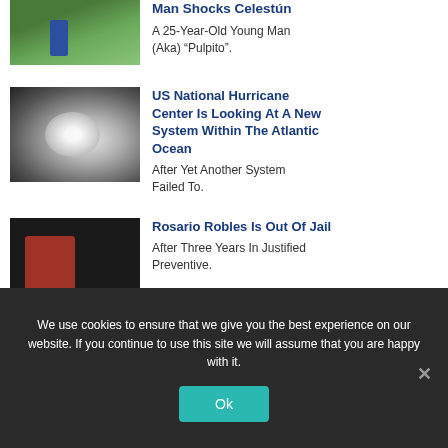[Figure (photo): Partial view of a person in a green/forested area]
Man Shocks Celestún
A 25-Year-Old Young Man (Aka) “Pulpito”.
[Figure (photo): Satellite image of a hurricane/tropical storm system]
US National Hurricane Center Is Looking At A New System Within The Atlantic Ocean
After Yet Another System Failed To.
[Figure (photo): People in masks, woman in red raising arm]
Rosario Robles Is Out Of Jail
After Three Years In Justified Preventive.
We use cookies to ensure that we give you the best experience on our website. If you continue to use this site we will assume that you are happy with it.